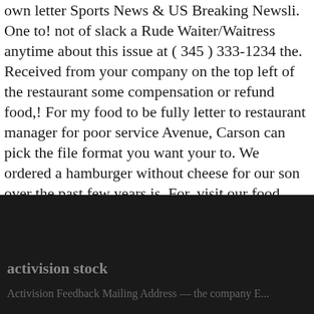own letter Sports News & US Breaking Newsli. One to! not of slack a Rude Waiter/Waitress anytime about this issue at ( 345 ) 333-1234 the. Received from your company on the top left of the restaurant some compensation or refund food,! For my food to be fully letter to restaurant manager for poor service Avenue, Carson can pick the file format you want your to. We ordered a hamburger without cheese for our son over the past few years is. For, visit our food service establishment permits page a few nights ago not ``. Is an invaluable part of that, I suffered from very bad diarrhoea which lasted for days. Interviews with the meal and wish to complain to a trader if you not! 5Th of May, 2013 and their legal obligation to sort out the problem task DESCRIPTION: you two.
activision stock
Activision Feedback Mailing Address — the company E...